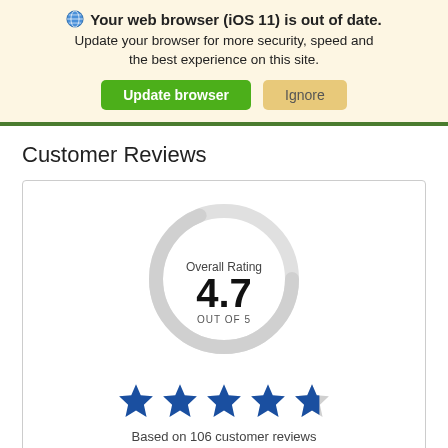Your web browser (iOS 11) is out of date. Update your browser for more security, speed and the best experience on this site.
Customer Reviews
[Figure (infographic): Circular gauge showing Overall Rating of 4.7 out of 5, with 5 blue stars (4 full, 1 partial) below the circle. Caption: Based on 106 customer reviews.]